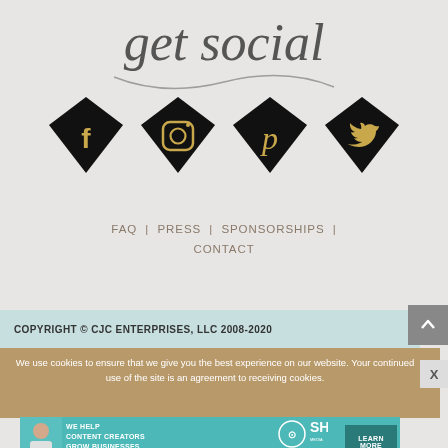get social
[Figure (illustration): Four black diamond-shaped social media icons with gold logos for Facebook, Instagram, Pinterest, and Twitter]
FAQ | PRESS | SPONSORSHIPS | CONTACT
COPYRIGHT © CJC ENTERPRISES, LLC 2008-2020
We use cookies to ensure that we give you the best experience on our website. Your continued use of the site is an agreement to receiving cookies.
[Figure (illustration): SHE Partner Network ad banner: We help content creators grow businesses through... Learn More]